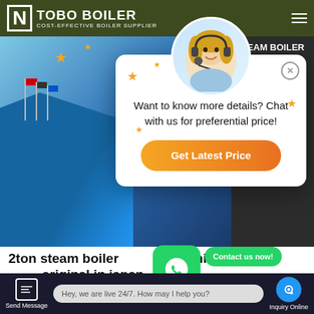TOBO BOILER - COST-EFFECTIVE BOILER SUPPLIER
[Figure (screenshot): Website screenshot showing a popup chat widget over a hero section with building image. A blonde woman with headset appears in a circular avatar above a white popup dialog.]
Want to know more details? Chat with us for preferential price!
Get Latest Price
STEAM BOILER
Steam Boiler
6-20t/h
100-104%
Chat
Email
Contact
2ton steam boiler price machine original in japan
Contact us now!
Hey, we are live 24/7. How may I help you?
Send Message   Inquiry Online